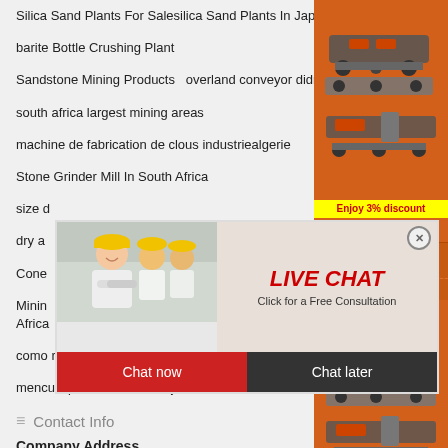Silica Sand Plants For Salesilica Sand Plants In Japan
barite Bottle Crushing Plant
Sandstone Mining Products   overland conveyor didnt
south africa largest mining areas
machine de fabrication de clous industriealgerie
Stone Grinder Mill In South Africa
size d
dry a
Cone
Minin Africa
como rayar piedras molino
mencuci peralatan untuk bijih besi   mineral flow chart
[Figure (photo): Live chat popup with woman in hard hat, chat now and chat later buttons]
[Figure (photo): Sidebar with orange background showing mining machinery images, Enjoy 3% discount, Click to Chat, Enquiry, limingjlmofen@sina.com]
Contact Info
Company Address